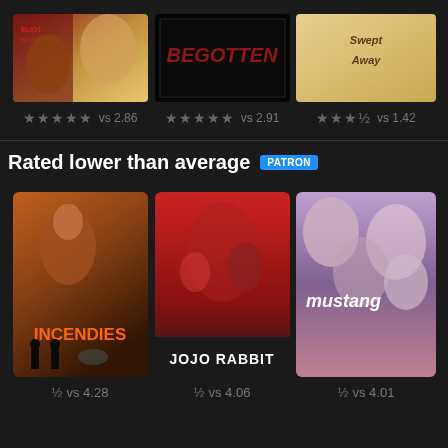[Figure (photo): Movie poster for Eliot film with warm tones]
★★★★★ vs 2.86
[Figure (photo): Movie poster for Begotten, black and white]
★★★★★ vs 2.91
[Figure (photo): Movie poster for Sweet Away / Swept Away]
★★★½ vs 1.42
Rated lower than average
PATRON
[Figure (photo): Movie poster for Incendies]
½ vs 4.28
[Figure (photo): Movie poster for Jojo Rabbit]
½ vs 4.06
[Figure (photo): Movie poster for Mustang (partially visible)]
½ vs 4.01